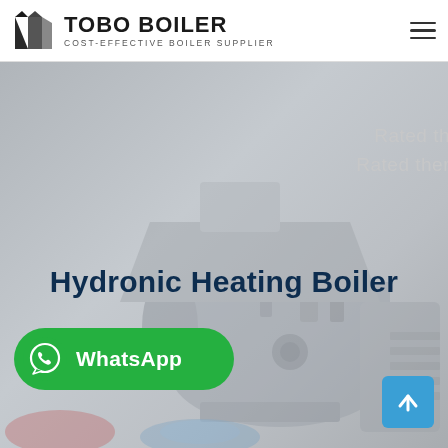[Figure (logo): TOBO BOILER logo with black geometric icon and text 'TOBO BOILER / COST-EFFECTIVE BOILER SUPPLIER']
[Figure (photo): Hero background image showing an industrial hydronic heating boiler, grayed out. Partial text reads 'Rated th...' and 'Rated ther...' on the right side.]
Hydronic Heating Boiler
[Figure (other): WhatsApp contact button - green rounded rectangle with WhatsApp icon and label 'WhatsApp']
[Figure (other): Scroll-to-top button - blue square with upward arrow]